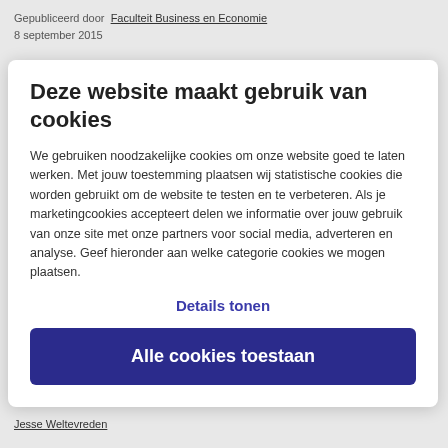Gepubliceerd door  Faculteit Business en Economie
8 september 2015
Deze website maakt gebruik van cookies
We gebruiken noodzakelijke cookies om onze website goed te laten werken. Met jouw toestemming plaatsen wij statistische cookies die worden gebruikt om de website te testen en te verbeteren. Als je marketingcookies accepteert delen we informatie over jouw gebruik van onze site met onze partners voor social media, adverteren en analyse. Geef hieronder aan welke categorie cookies we mogen plaatsen.
Details tonen
Alle cookies toestaan
Jesse Weltevreden